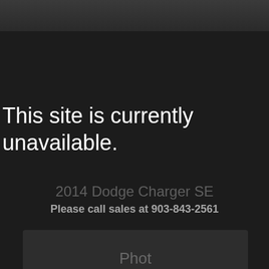This site is currently unavailable.
2014 Dodge Charger SE
Please call sales at 903-843-2561
[Figure (photo): Partially visible photo placeholder area at the bottom of the page with text 'Phot...' visible, dark background]